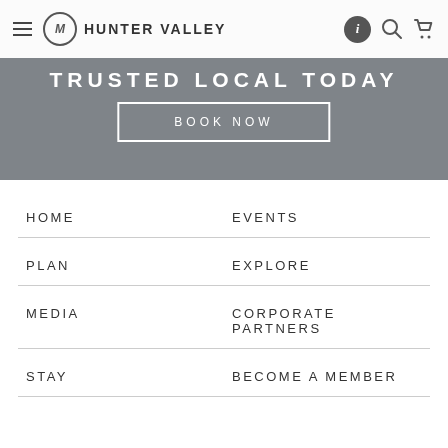HUNTER VALLEY
TRUSTED LOCAL TODAY
BOOK NOW
HOME
EVENTS
PLAN
EXPLORE
MEDIA
CORPORATE PARTNERS
STAY
BECOME A MEMBER